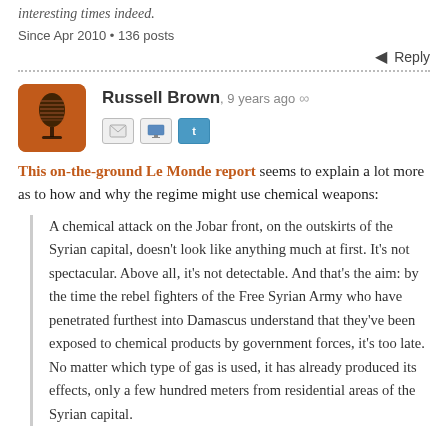interesting times indeed.
Since Apr 2010 • 136 posts
Reply
Russell Brown, 9 years ago ∞
This on-the-ground Le Monde report seems to explain a lot more as to how and why the regime might use chemical weapons:
A chemical attack on the Jobar front, on the outskirts of the Syrian capital, doesn't look like anything much at first. It's not spectacular. Above all, it's not detectable. And that's the aim: by the time the rebel fighters of the Free Syrian Army who have penetrated furthest into Damascus understand that they've been exposed to chemical products by government forces, it's too late. No matter which type of gas is used, it has already produced its effects, only a few hundred meters from residential areas of the Syrian capital.